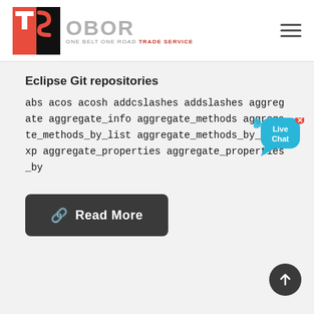OBOR ONE BELT ONE ROAD TRADE SERVICE
Eclipse Git repositories
abs acos acosh addcslashes addslashes aggregate aggregate_info aggregate_methods aggregate_methods_by_list aggregate_methods_by_regexp aggregate_properties aggregate_properties_by
Read More